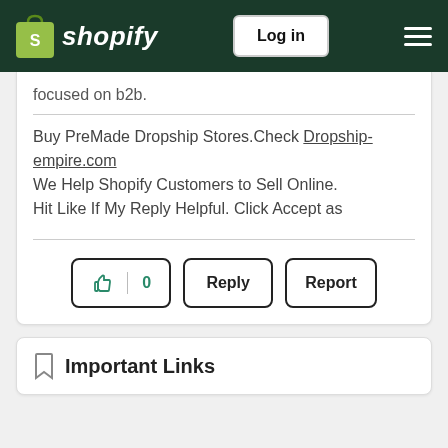Shopify | Log in
focused on b2b.
Buy PreMade Dropship Stores.Check Dropship-empire.com
We Help Shopify Customers to Sell Online.
Hit Like If My Reply Helpful. Click Accept as
[Figure (screenshot): Like button with count 0, Reply button, Report button]
Important Links